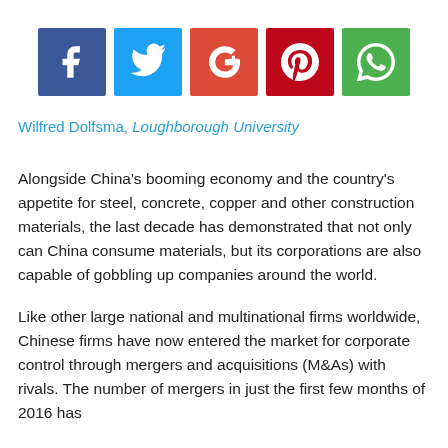[Figure (infographic): Row of five social media share buttons: Facebook (dark blue), Twitter (light blue), Google+ (orange-red), Pinterest (dark red), WhatsApp (green)]
Wilfred Dolfsma, Loughborough University
Alongside China’s booming economy and the country’s appetite for steel, concrete, copper and other construction materials, the last decade has demonstrated that not only can China consume materials, but its corporations are also capable of gobbling up companies around the world.
Like other large national and multinational firms worldwide, Chinese firms have now entered the market for corporate control through mergers and acquisitions (M&As) with rivals. The number of mergers in just the first few months of 2016 has